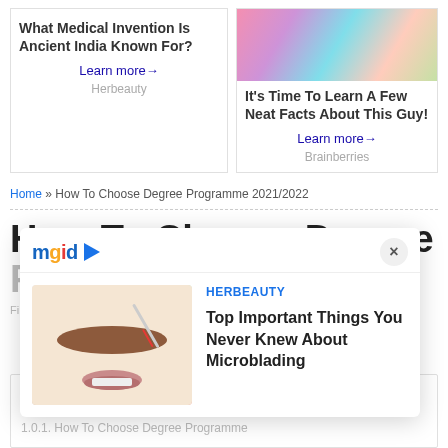[Figure (other): Ad block left: 'What Medical Invention Is Ancient India Known For?' with Learn more link and Herbeauty source]
[Figure (photo): Ad block right with performer image: 'It's Time To Learn A Few Neat Facts About This Guy!' with Learn more link and Brainberries source]
Home » How To Choose Degree Programme 2021/2022
How To Choose Degree Programme 2021/2022
[Figure (other): MGID popup overlay with HERBEAUTY tag and article: 'Top Important Things You Never Knew About Microblading' with microblading thumbnail image]
Filed in: Jobs, Tips by Wissant Alire on June 10, 2021 · 0
How To Choose Degree Programme 2021/2022
1.0.1. How To Choose Degree Programme